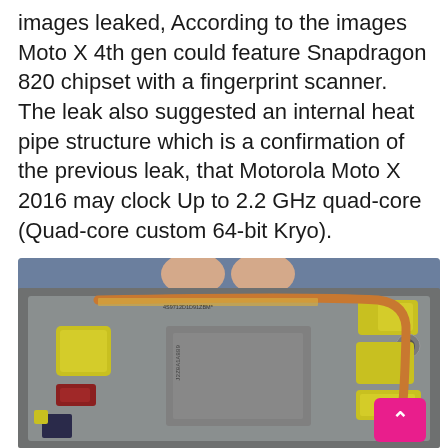images leaked, According to the images Moto X 4th gen could feature Snapdragon 820 chipset with a fingerprint scanner. The leak also suggested an internal heat pipe structure which is a confirmation of the previous leak, that Motorola Moto X 2016 may clock Up to 2.2 GHz quad-core (Quad-core custom 64-bit Kryo).
[Figure (photo): Leaked internal photo of Moto X 4th gen smartphone showing internal components including heat pipe, chipset area, yellow circuit pads, and various connectors, with two fingers visible at the top holding the device.]